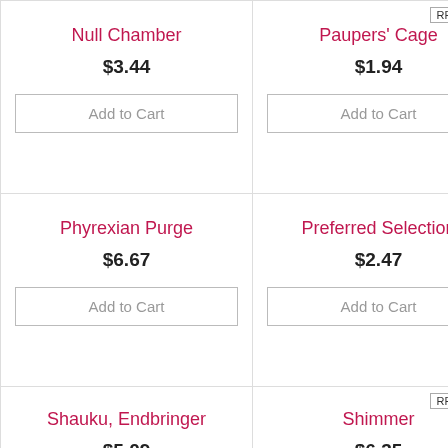RRP $2.67
Null Chamber
$3.44
Add to Cart
Paupers' Cage
$1.94
Add to Cart
Phyrexian Purge
$6.67
Add to Cart
Preferred Selection
$2.47
Add to Cart
RRP $7.57
Shauku, Endbringer
$5.09
Add to Cart
Shimmer
$6.35
Add to Cart